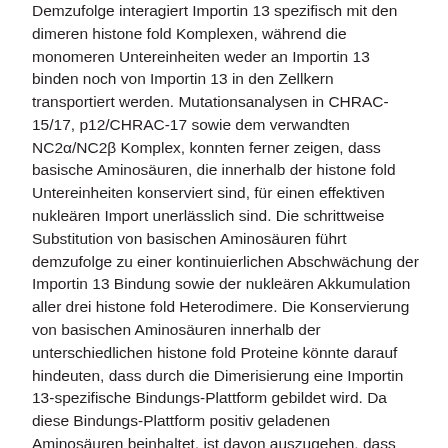Demzufolge interagiert Importin 13 spezifisch mit den dimeren histone fold Komplexen, während die monomeren Untereinheiten weder an Importin 13 binden noch von Importin 13 in den Zellkern transportiert werden. Mutationsanalysen in CHRAC-15/17, p12/CHRAC-17 sowie dem verwandten NC2α/NC2β Komplex, konnten ferner zeigen, dass basische Aminosäuren, die innerhalb der histone fold Untereinheiten konserviert sind, für einen effektiven nukleären Import unerlässlich sind. Die schrittweise Substitution von basischen Aminosäuren führt demzufolge zu einer kontinuierlichen Abschwächung der Importin 13 Bindung sowie der nukleären Akkumulation aller drei histone fold Heterodimere. Die Konservierung von basischen Aminosäuren innerhalb der unterschiedlichen histone fold Proteine könnte darauf hindeuten, dass durch die Dimerisierung eine Importin 13-spezifische Bindungs-Plattform gebildet wird. Da diese Bindungs-Plattform positiv geladenen Aminosäuren beinhaltet, ist davon auszugehen, dass die Interaktion zwischen den histone fold Komplexen und Importin 13 auf elektrostatischen Wechselwirkungen basiert. Darüber hinaus wurde gezeigt, dass der in vivo Transport von CHRAC-15/17 durch die Deletion einer HEAT-Domäne am Amino-Terminus bzw. von vier HEAT-Domänen am Carboxy-Terminus in Importin 13 bereits negativ beeinflusst wird. Diese Resultate weisen auf eine große Interaktionsfläche zwischen dem nukleären